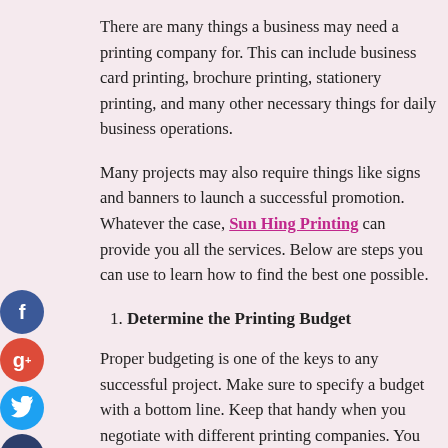There are many things a business may need a printing company for. This can include business card printing, brochure printing, stationery printing, and many other necessary things for daily business operations.
Many projects may also require things like signs and banners to launch a successful promotion. Whatever the case, Sun Hing Printing can provide you all the services. Below are steps you can use to learn how to find the best one possible.
1. Determine the Printing Budget
Proper budgeting is one of the keys to any successful project. Make sure to specify a budget with a bottom line. Keep that handy when you negotiate with different printing companies. You don't want to be tempted to pay more than that bottom line for printing services.